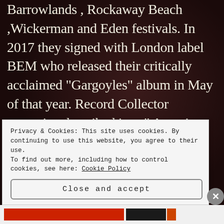Barrowlands, Rockaway Beach, Wickerman and Eden festivals. In 2017 they signed with London label BEM who released their critically acclaimed “Gargoyles” album in May of that year. Record Collector magazine described it as “ An epic fantasia through Glasgow’s grimy underbelly with tumbling brass and suspended jazz chords” , while prog magazine describes them as “ masters
Privacy & Cookies: This site uses cookies. By continuing to use this website, you agree to their use.
To find out more, including how to control cookies, see here: Cookie Policy
Close and accept